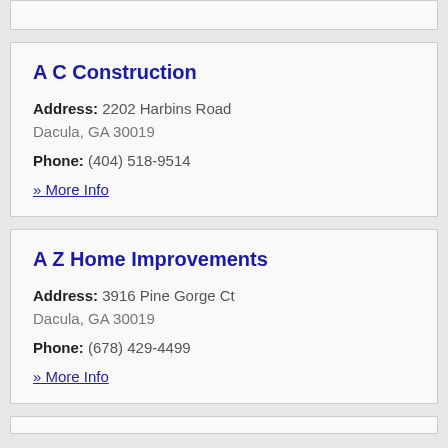A C Construction
Address: 2202 Harbins Road Dacula, GA 30019
Phone: (404) 518-9514
» More Info
A Z Home Improvements
Address: 3916 Pine Gorge Ct Dacula, GA 30019
Phone: (678) 429-4499
» More Info